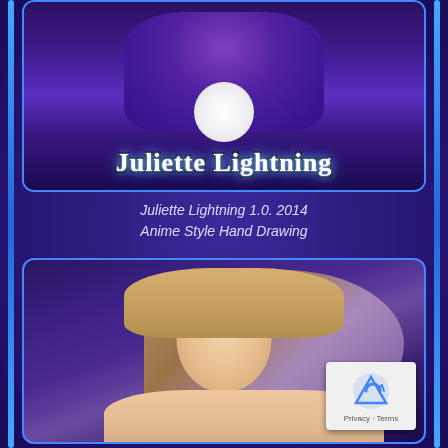[Figure (illustration): Anime-style hand drawing of character Juliette Lightning in purple outfit with title text overlay reading 'Juliette Lightning']
Juliette Lightning 1.0. 2014
Anime Style Hand Drawing
[Figure (illustration): 3D rendered portrait of a female character with long blonde and purple hair, light skin, wearing a black choker necklace, smiling with vampire-like fangs. A reCAPTCHA privacy badge overlays the bottom right corner.]